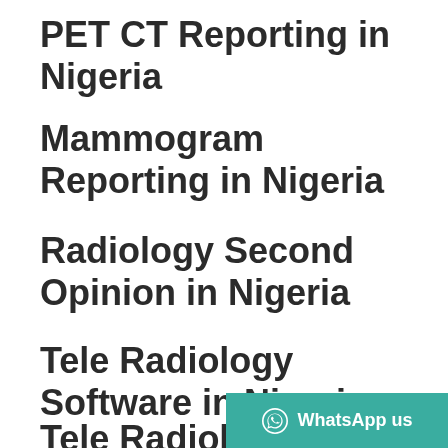PET CT Reporting in Nigeria
Mammogram Reporting in Nigeria
Radiology Second Opinion in Nigeria
Tele Radiology Software in Nigeria
Tele Radiology Companies in Nigeria